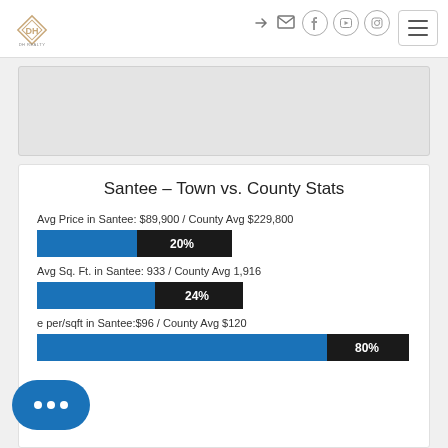Navigation header with logo and icons
[Figure (screenshot): Gray placeholder content area]
Santee - Town vs. County Stats
Avg Price in Santee: $89,900 / County Avg $229,800
[Figure (bar-chart): Avg Price percentage bar]
Avg Sq. Ft. in Santee: 933 / County Avg 1,916
[Figure (bar-chart): Avg Sq Ft percentage bar]
e per/sqft in Santee:$96 / County Avg $120
[Figure (bar-chart): Price per sqft percentage bar]